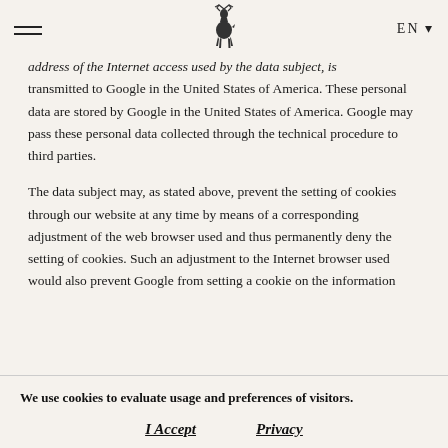EN ▾ [hamburger menu] [deer logo]
address of the Internet access used by the data subject, is transmitted to Google in the United States of America. These personal data are stored by Google in the United States of America. Google may pass these personal data collected through the technical procedure to third parties.
The data subject may, as stated above, prevent the setting of cookies through our website at any time by means of a corresponding adjustment of the web browser used and thus permanently deny the setting of cookies. Such an adjustment to the Internet browser used would also prevent Google from setting a cookie on the information
We use cookies to evaluate usage and preferences of visitors.
I Accept    Privacy